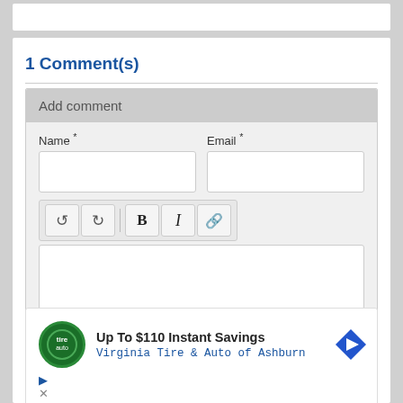1 Comment(s)
Add comment
Name *
Email *
[Figure (screenshot): Rich text editor toolbar with undo, redo, bold (B), italic (I), and link buttons]
[Figure (screenshot): Advertisement: Up To $110 Instant Savings - Virginia Tire & Auto of Ashburn, with green logo and blue directional arrow icon]